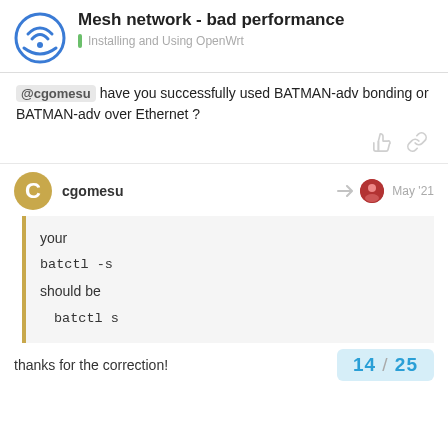Mesh network - bad performance | Installing and Using OpenWrt
@cgomesu have you successfully used BATMAN-adv bonding or BATMAN-adv over Ethernet ?
cgomesu  May '21
your
batctl -s
should be
    batctl s
thanks for the correction!
14 / 25